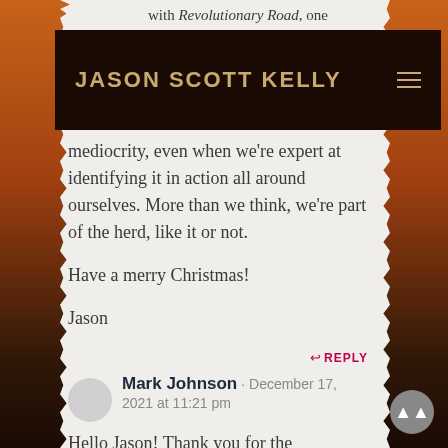JASON SCOTT KELLY
with Revolutionary Road, one
mediocrity, even when we're expert at identifying it in action all around ourselves. More than we think, we're part of the herd, like it or not.

Have a merry Christmas!

Jason
↩ REPLY
Mark Johnson · December 17, 2021 at 11:21 pm
Hello Jason! Thank you for the interesting article on Richard Yates. I haven't had a chance to